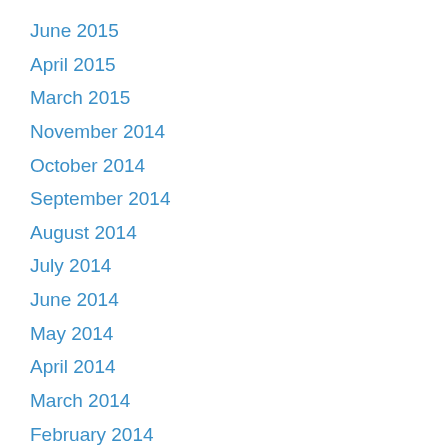June 2015
April 2015
March 2015
November 2014
October 2014
September 2014
August 2014
July 2014
June 2014
May 2014
April 2014
March 2014
February 2014
January 2014
December 2013